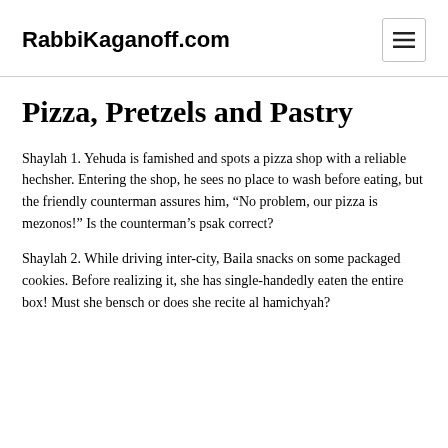RabbiKaganoff.com
Pizza, Pretzels and Pastry
Shaylah 1. Yehuda is famished and spots a pizza shop with a reliable hechsher. Entering the shop, he sees no place to wash before eating, but the friendly counterman assures him, “No problem, our pizza is mezonos!” Is the counterman’s psak correct?
Shaylah 2. While driving inter-city, Baila snacks on some packaged cookies. Before realizing it, she has single-handedly eaten the entire box! Must she bensch or does she recite al hamichyah?